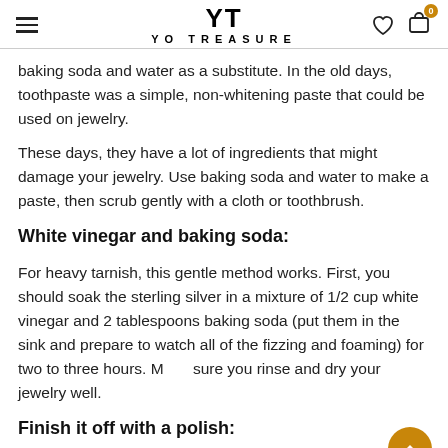YT YO TREASURE
baking soda and water as a substitute. In the old days, toothpaste was a simple, non-whitening paste that could be used on jewelry.
These days, they have a lot of ingredients that might damage your jewelry. Use baking soda and water to make a paste, then scrub gently with a cloth or toothbrush.
White vinegar and baking soda:
For heavy tarnish, this gentle method works. First, you should soak the sterling silver in a mixture of 1/2 cup white vinegar and 2 tablespoons baking soda (put them in the sink and prepare to watch all of the fizzing and foaming) for two to three hours. Make sure you rinse and dry your jewelry well.
Finish it off with a polish: